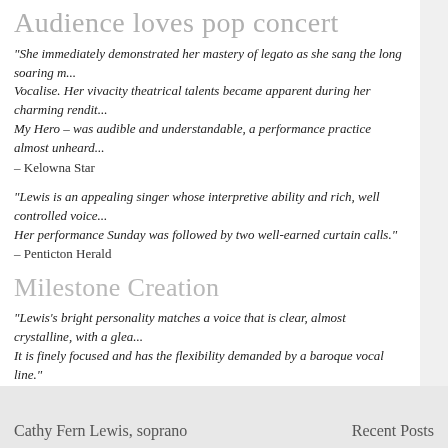Audience loves pop concert
“She immediately demonstrated her mastery of legato as she sang the long soaring m... Vocalise. Her vivacity theatrical talents became apparent during her charming rendit... My Hero – was audible and understandable, a performance practice almost unheard...
– Kelowna Star
“Lewis is an appealing singer whose interpretive ability and rich, well controlled voice... Her performance Sunday was followed by two well-earned curtain calls.”
– Penticton Herald
Milestone Creation
“Lewis’s bright personality matches a voice that is clear, almost crystalline, with a glea... It is finely focused and has the flexibility demanded by a baroque vocal line.”
– Monday Magazine
Cathy Fern Lewis, soprano
Recent Posts